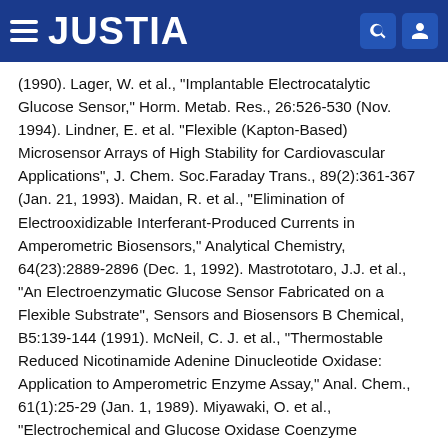JUSTIA
(1990). Lager, W. et al., "Implantable Electrocatalytic Glucose Sensor," Horm. Metab. Res., 26:526-530 (Nov. 1994). Lindner, E. et al. "Flexible (Kapton-Based) Microsensor Arrays of High Stability for Cardiovascular Applications", J. Chem. Soc.Faraday Trans., 89(2):361-367 (Jan. 21, 1993). Maidan, R. et al., "Elimination of Electrooxidizable Interferant-Produced Currents in Amperometric Biosensors," Analytical Chemistry, 64(23):2889-2896 (Dec. 1, 1992). Mastrototaro, J.J. et al., "An Electroenzymatic Glucose Sensor Fabricated on a Flexible Substrate", Sensors and Biosensors B Chemical, B5:139-144 (1991). McNeil, C. J. et al., "Thermostable Reduced Nicotinamide Adenine Dinucleotide Oxidase: Application to Amperometric Enzyme Assay," Anal. Chem., 61(1):25-29 (Jan. 1, 1989). Miyawaki, O. et al., "Electrochemical and Glucose Oxidase Coenzyme